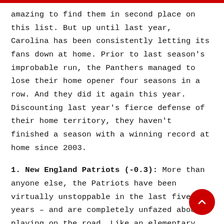amazing to find them in second place on this list. But up until last year, Carolina has been consistently letting its fans down at home. Prior to last season's improbable run, the Panthers managed to lose their home opener four seasons in a row. And they did it again this year. Discounting last year's fierce defense of their home territory, they haven't finished a season with a winning record at home since 2003.
1. New England Patriots (-0.3): More than anyone else, the Patriots have been virtually unstoppable in the last five years – and are completely unfazed about playing on the road. Like an elementary school bully giving you an atomic wedgie in front of the girl you've got a crush on, Bill Belichick seems to take delight in running up the score in front of opposing crowds. And when they're at